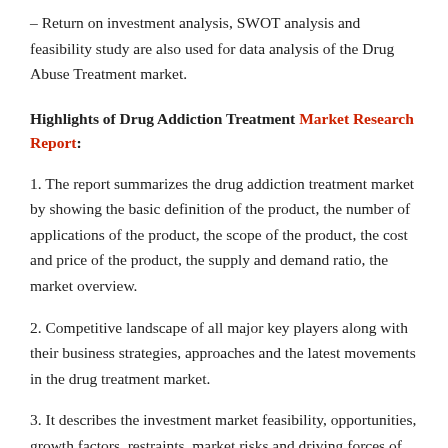– Return on investment analysis, SWOT analysis and feasibility study are also used for data analysis of the Drug Abuse Treatment market.
Highlights of Drug Addiction Treatment Market Research Report:
1. The report summarizes the drug addiction treatment market by showing the basic definition of the product, the number of applications of the product, the scope of the product, the cost and price of the product, the supply and demand ratio, the market overview.
2. Competitive landscape of all major key players along with their business strategies, approaches and the latest movements in the drug treatment market.
3. It describes the investment market feasibility, opportunities, growth factors, restraints, market risks and driving forces of drug